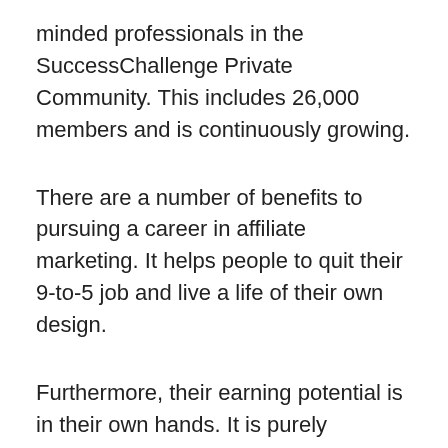minded professionals in the SuccessChallenge Private Community. This includes 26,000 members and is continuously growing.
There are a number of benefits to pursuing a career in affiliate marketing. It helps people to quit their 9-to-5 job and live a life of their own design.
Furthermore, their earning potential is in their own hands. It is purely performance based and gives them the freedom to work where and when they want.